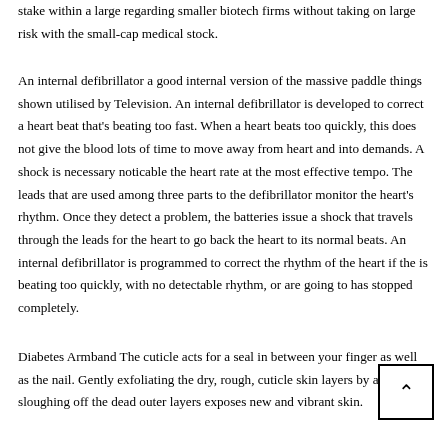stake within a large regarding smaller biotech firms without taking on large risk with the small-cap medical stock.
An internal defibrillator a good internal version of the massive paddle things shown utilised by Television. An internal defibrillator is developed to correct a heart beat that’s beating too fast. When a heart beats too quickly, this does not give the blood lots of time to move away from heart and into demands. A shock is necessary noticable the heart rate at the most effective tempo. The leads that are used among three parts to the defibrillator monitor the heart’s rhythm. Once they detect a problem, the batteries issue a shock that travels through the leads for the heart to go back the heart to its normal beats. An internal defibrillator is programmed to correct the rhythm of the heart if the is beating too quickly, with no detectable rhythm, or are going to has stopped completely.
Diabetes Armband The cuticle acts for a seal in between your finger as well as the nail. Gently exfoliating the dry, rough, cuticle skin layers by adding sloughing off the dead outer layers exposes new and vibrant skin.